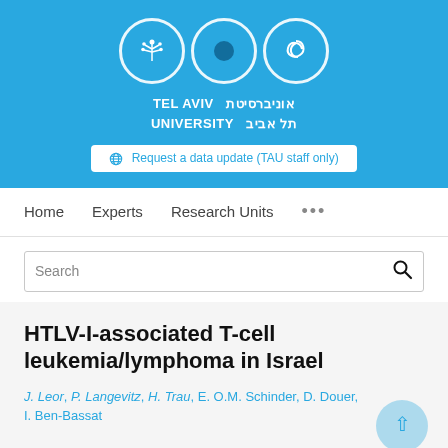[Figure (logo): Tel Aviv University logo with three circular icons and bilingual university name in English and Hebrew on blue background]
Request a data update (TAU staff only)
Home  Experts  Research Units  ...
Search
HTLV-I-associated T-cell leukemia/lymphoma in Israel
J. Leor, P. Langevitz, H. Trau, E. O.M. Schinder, D. Douer, I. Ben-Bassat